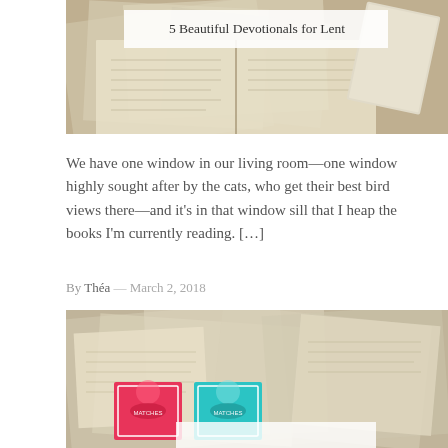[Figure (photo): Photo of scattered old book pages and an open book with text, with a decorative book cover (Elyse M. Fitzpatrick) visible in the upper right. A white semi-transparent overlay in the upper center contains the article title.]
5 Beautiful Devotionals for Lent
We have one window in our living room—one window highly sought after by the cats, who get their best bird views there—and it's in that window sill that I heap the books I'm currently reading. […]
By Théa  —  March 2, 2018
[Figure (photo): Photo of scattered aged/yellowed book pages and letters with two colorful matchbox-style decorative book covers in teal and red/pink at the bottom center, and a partial white overlay at the bottom.]